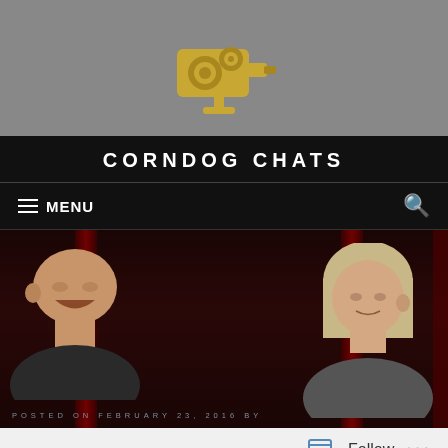[Figure (logo): Corndog Chats website logo banner with golden movie camera icon and text 'Corndog Chats' on gray background]
CORNDOG CHATS
≡ MENU
[Figure (photo): Two elderly people (man on left laughing, woman on right with blonde hair) seated in dark room with red curtains behind them]
POSTED ON FEBRUARY 23, 2016 BY
Follow